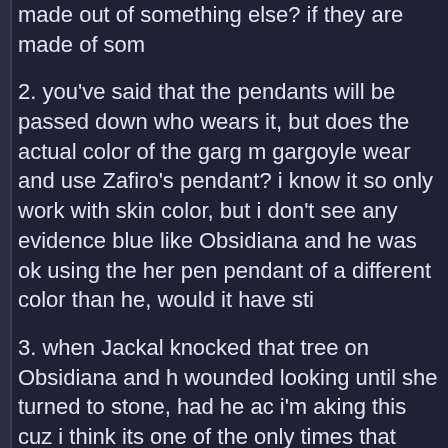made out of something else? if they are made of som
2. you've said that the pendants will be passed down who wears it, but does the actual color of the garg m gargoyle wear and use Zafiro's pendant? i know it so only work with skin color, but i don't see any evidence blue like Obsidiana and he was ok using the her pen pendant of a different color than he, would it have sti
3. when Jackal knocked that tree on Obsidiana and h wounded looking until she turned to stone, had he ac i'm aking this cuz i think its one of the only times that injury in the series...
Greg responds...
1. The former. One is Sapphire. One is Jade. One is
2. No, the color of the garg doesn't matter. Zafiro in th Zafiro of the twenty-second century is blue. (At least
3. I'd have to see it again.